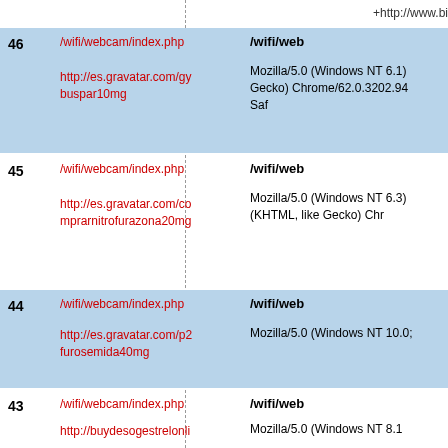+http://www.bi
| # | Path / Referer | User-Agent / Path |
| --- | --- | --- |
| 46 | /wifi/webcam/index.php
http://es.gravatar.com/gy buspar10mg | /wifi/web
Mozilla/5.0 (Windows NT 6.1) Gecko) Chrome/62.0.3202.94 Saf |
| 45 | /wifi/webcam/index.php
http://es.gravatar.com/co mprarnitrofurazona20mg | /wifi/web
Mozilla/5.0 (Windows NT 6.3) (KHTML, like Gecko) Chr |
| 44 | /wifi/webcam/index.php
http://es.gravatar.com/p2 furosemida40mg | /wifi/web
Mozilla/5.0 (Windows NT 10.0; |
| 43 | /wifi/webcam/index.php
http://buydesogestrelonli | /wifi/web
Mozilla/5.0 (Windows NT 8.1 |